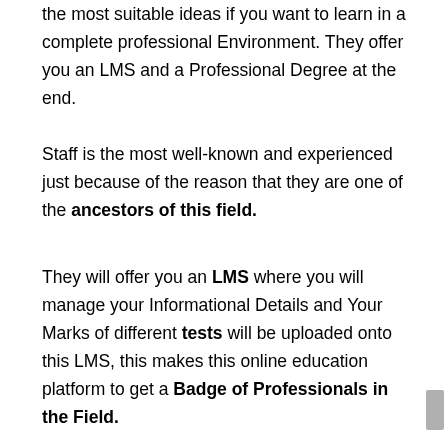the most suitable ideas if you want to learn in a complete professional Environment. They offer you an LMS and a Professional Degree at the end.
Staff is the most well-known and experienced just because of the reason that they are one of the ancestors of this field.
They will offer you an LMS where you will manage your Informational Details and Your Marks of different tests will be uploaded onto this LMS, this makes this online education platform to get a Badge of Professionals in the Field.